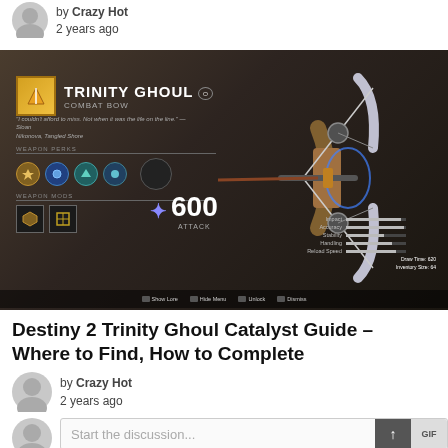by Crazy Hot
2 years ago
[Figure (screenshot): In-game screenshot of Destiny 2 showing the Trinity Ghoul Combat Bow weapon details screen with stats showing 600 power, perks, and a detailed 3D render of the bow weapon.]
Destiny 2 Trinity Ghoul Catalyst Guide – Where to Find, How to Complete
by Crazy Hot
2 years ago
Start the discussion...